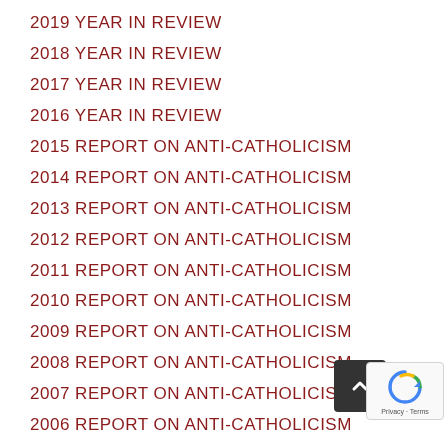2019 YEAR IN REVIEW
2018 YEAR IN REVIEW
2017 YEAR IN REVIEW
2016 YEAR IN REVIEW
2015 REPORT ON ANTI-CATHOLICISM
2014 REPORT ON ANTI-CATHOLICISM
2013 REPORT ON ANTI-CATHOLICISM
2012 REPORT ON ANTI-CATHOLICISM
2011 REPORT ON ANTI-CATHOLICISM
2010 REPORT ON ANTI-CATHOLICISM
2009 REPORT ON ANTI-CATHOLICISM
2008 REPORT ON ANTI-CATHOLICISM
2007 REPORT ON ANTI-CATHOLICISM
2006 REPORT ON ANTI-CATHOLICISM